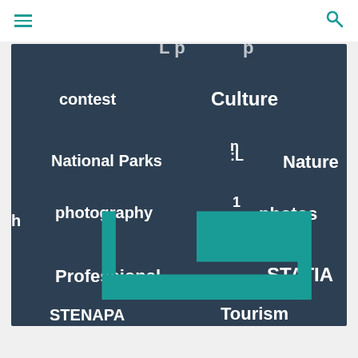[Figure (screenshot): Website navigation screenshot showing a dark navy tag cloud panel with a white header bar containing a hamburger menu icon and search icon. The tag cloud contains words: contest, Culture, HIstory, National Parks, Nature, fessional, a Contest., photography, photos, cal Excellence .., ory .. Statia', oulation., Professional, STATIA, STENAPA, Tourism. A teal/turquoise decorative shape is visible at the bottom of the panel.]